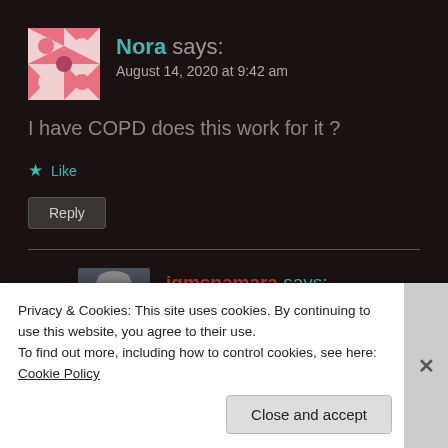[Figure (illustration): Avatar image for user Nora: pink and white geometric quilt pattern]
Nora says:
August 14, 2020 at 9:42 am
I have COPD does this work for it ?
Like
Reply
[Figure (photo): Avatar photo for user jgmcnamara: elderly man in suit with yellow tie, portrait style]
jgmcnamara says:
August 14, 2020 at 11:58 am
Privacy & Cookies: This site uses cookies. By continuing to use this website, you agree to their use.
To find out more, including how to control cookies, see here: Cookie Policy
Close and accept